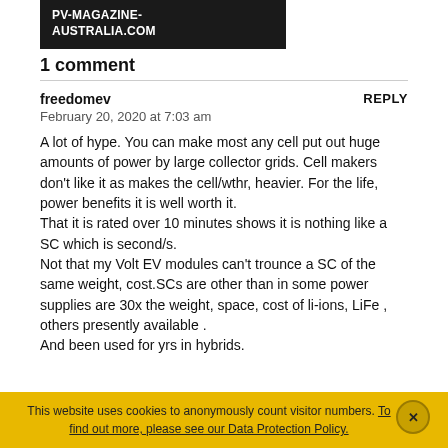PV-MAGAZINE-AUSTRALIA.COM
1 comment
freedomev
February 20, 2020 at 7:03 am
A lot of hype. You can make most any cell put out huge amounts of power by large collector grids. Cell makers don't like it as makes the cell/wthr, heavier. For the life, power benefits it is well worth it.
That it is rated over 10 minutes shows it is nothing like a SC which is second/s.
Not that my Volt EV modules can't trounce a SC of the same weight, cost.SCs are other than in some power supplies are 30x the weight, space, cost of li-ions, LiFe , others presently available .
And been used for yrs in hybrids.
This website uses cookies to anonymously count visitor numbers. To find out more, please see our Data Protection Policy.